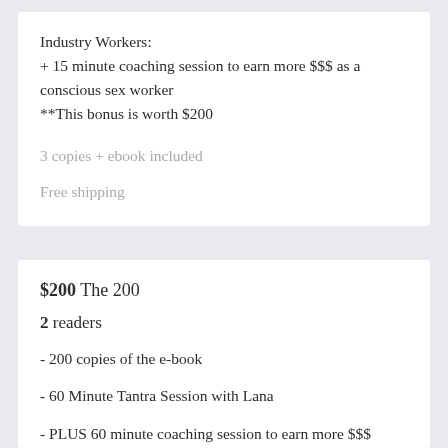Industry Workers:
+ 15 minute coaching session to earn more $$$ as a conscious sex worker
**This bonus is worth $200
3 copies + ebook included
Free shipping
$200 The 200
2 readers
- 200 copies of the e-book
- 60 Minute Tantra Session with Lana
- PLUS 60 minute coaching session to earn more $$$
as a Conscious Sex Worker